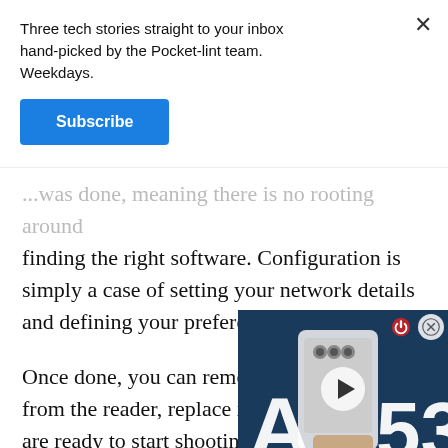Three tech stories straight to your inbox hand-picked by the Pocket-lint team. Weekdays.
Subscribe
...was done, meaning there is no rooting around finding the right software. Configuration is simply a case of setting your network details and defining your preferences.
[Figure (screenshot): Video thumbnail showing Samsung Galaxy A53 phone being held, with large white letters 'A' and '53' on a dark blue background, a play button overlay, close button (circled X), and red power icon.]
Once done, you can remove [the card] from the reader, replace it in [the camera and] are ready to start shooting. You don't need to make any changes to the camera – essentially, the camera has no idea what the SD card is doing, it just writes the data as usual. We didn't find any